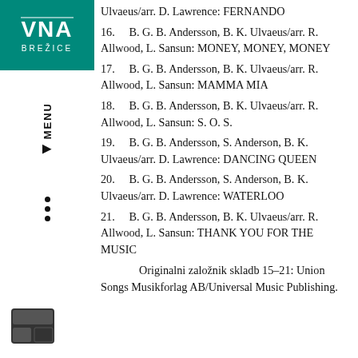[Figure (logo): VNA Brežice logo — teal/green square with stylized V N A letters and BREŽICE text below]
16.   B. G. B. Andersson, B. K. Ulvaeus/arr. R. Allwood, L. Sansun: MONEY, MONEY, MONEY
17.   B. G. B. Andersson, B. K. Ulvaeus/arr. R. Allwood, L. Sansun: MAMMA MIA
18.   B. G. B. Andersson, B. K. Ulvaeus/arr. R. Allwood, L. Sansun: S. O. S.
19.   B. G. B. Andersson, S. Anderson, B. K. Ulvaeus/arr. D. Lawrence: DANCING QUEEN
20.   B. G. B. Andersson, S. Anderson, B. K. Ulvaeus/arr. D. Lawrence: WATERLOO
21.   B. G. B. Andersson, B. K. Ulvaeus/arr. R. Allwood, L. Sansun: THANK YOU FOR THE MUSIC
Originalni založnik skladb 15–21: Union Songs Musikforlag AB/Universal Music Publishing.